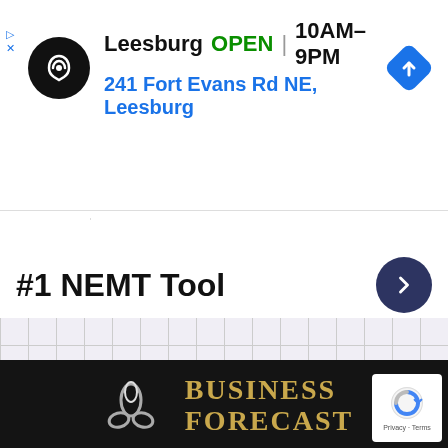[Figure (screenshot): Google Maps ad banner showing Leesburg store: logo circle, OPEN status, hours 10AM-9PM, address 241 Fort Evans Rd NE, Leesburg, navigation diamond icon]
#1 NEMT Tool
[Figure (screenshot): Grid/dotted background area]
[Figure (logo): Business Forecast company logo with white trinity knot icon and gold serif text BUSINESS FORECAST on dark background]
тел.: +375 17 271 10 52
моб.: +375 29 752 16 54 (мтс)
моб.: +375 44 535 41 09 (Velcom)